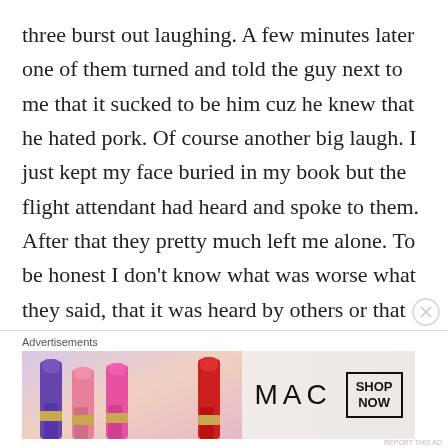three burst out laughing. A few minutes later one of them turned and told the guy next to me that it sucked to be him cuz he knew that he hated pork. Of course another big laugh. I just kept my face buried in my book but the flight attendant had heard and spoke to them. After that they pretty much left me alone. To be honest I don't know what was worse what they said, that it was heard by others or that because I am fat I don't feel I have the right to say anything to these types of people in my defense.
These event though minor to some people have
Advertisements
[Figure (photo): MAC cosmetics advertisement banner showing colorful lipsticks on the left and MAC logo with SHOP NOW button on the right]